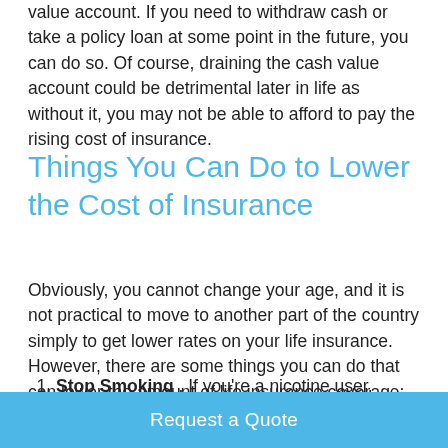value account. If you need to withdraw cash or take a policy loan at some point in the future, you can do so. Of course, draining the cash value account could be detrimental later in life as without it, you may not be able to afford to pay the rising cost of insurance.
Things You Can Do to Lower the Cost of Insurance
Obviously, you cannot change your age, and it is not practical to move to another part of the country simply to get lower rates on your life insurance. However, there are some things you can do that can lower the amount of life insurance coverage:
Stop Smoking . If you're a nicotine user, quitting can positively impact your rates on life insurance.
Request a Quote